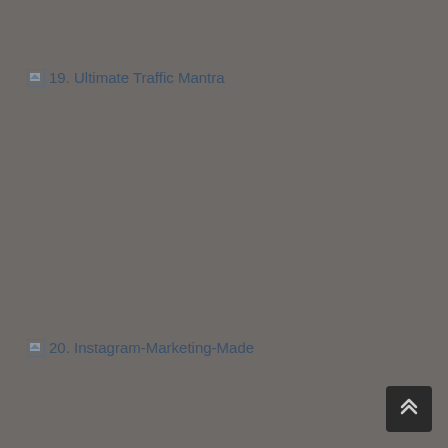19. Ultimate Traffic Mantra
20. Instagram-Marketing-Made
[Figure (other): Scroll-to-top button with double chevron up icon in dark background, positioned at bottom-right corner]